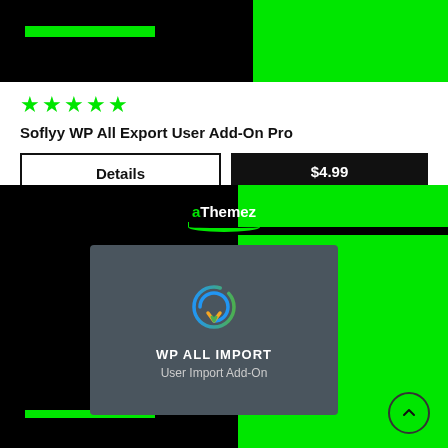[Figure (screenshot): Product card with black and green banner at top]
★★★★★
Soflyy WP All Export User Add-On Pro
Details
$4.99
[Figure (screenshot): aThemez plugin card showing WP ALL IMPORT User Import Add-On with icon on dark/green background]